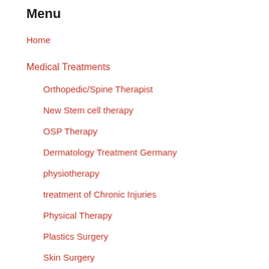Menu
Home
Medical Treatments
Orthopedic/Spine Therapist
New Stem cell therapy
OSP Therapy
Dermatology Treatment Germany
physiotherapy
treatment of Chronic Injuries
Physical Therapy
Plastics Surgery
Skin Surgery
Stem cell therapy
Treatment of osteoarthritis
Treatments